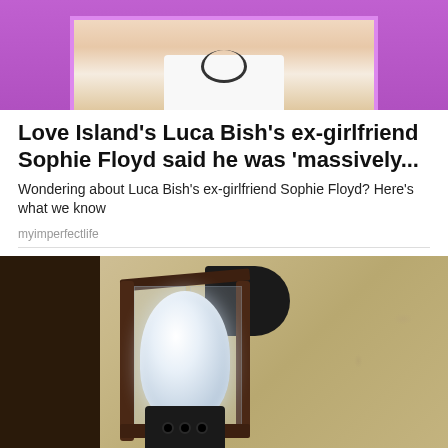[Figure (photo): Top portion of an article card showing a person in a white t-shirt with a necklace against a purple/pink background]
Love Island's Luca Bish's ex-girlfriend Sophie Floyd said he was 'massively...
Wondering about Luca Bish's ex-girlfriend Sophie Floyd? Here's what we know
myimperfectlife
[Figure (photo): A black outdoor wall lantern/lamp fixture mounted on a textured stucco wall, with a smart security camera bulb installed inside it]